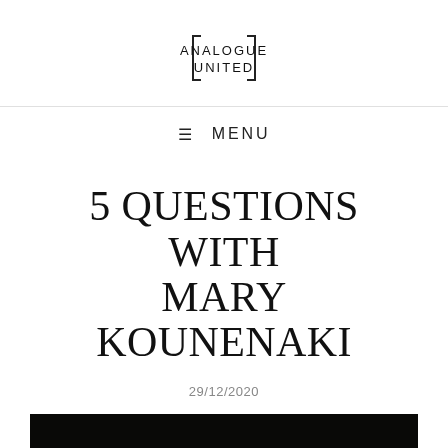[Figure (logo): Analogue United logo with square bracket framing, text reads ANALOGUE UNITED in two lines]
≡ MENU
5 QUESTIONS WITH MARY KOUNENAKI
29/12/2020
[Figure (photo): Abstract motion-blurred photograph showing streaks of green, orange, and white light against a dark background]